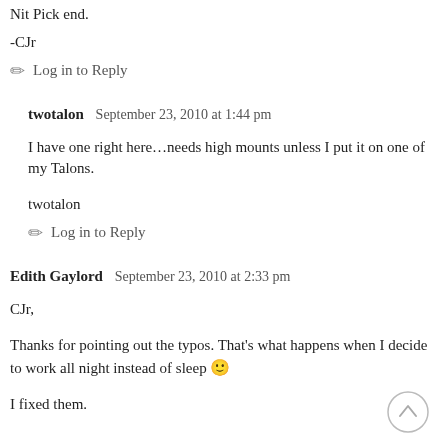Nit Pick end.
-CJr
✏ Log in to Reply
twotalon   September 23, 2010 at 1:44 pm
I have one right here…needs high mounts unless I put it on one of my Talons.
twotalon
✏ Log in to Reply
Edith Gaylord   September 23, 2010 at 2:33 pm
CJr,
Thanks for pointing out the typos. That's what happens when I decide to work all night instead of sleep 🙂
I fixed them.